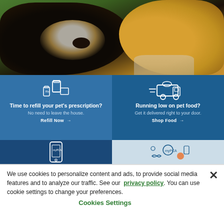[Figure (photo): Photo of two dogs close together — a Bernese Mountain Dog (black, white and tan) and a golden retriever — outdoors with a green background, being hugged by a person]
Time to refill your pet's prescription? No need to leave the house. Refill Now →
Running low on pet food? Get it delivered right to your door. Shop Food →
[Figure (illustration): Phone icon with myPCA app screen]
[Figure (illustration): myPCA pet care icons illustration with various pet-related items]
We use cookies to personalize content and ads, to provide social media features and to analyze our traffic. See our  privacy policy. You can use cookie settings to change your preferences.
Cookies Settings